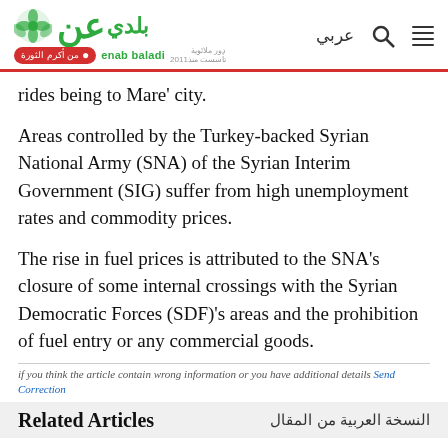Enab Baladi - عربي
rides being to Mare' city.
Areas controlled by the Turkey-backed Syrian National Army (SNA) of the Syrian Interim Government (SIG) suffer from high unemployment rates and commodity prices.
The rise in fuel prices is attributed to the SNA's closure of some internal crossings with the Syrian Democratic Forces (SDF)'s areas and the prohibition of fuel entry or any commercial goods.
if you think the article contain wrong information or you have additional details Send Correction
Related Articles / النسخة العربية من المقال
Turkish housing projects in northern Syria: